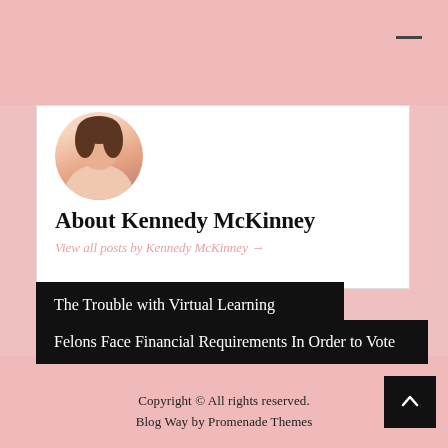[Figure (photo): Circular profile photo of Kennedy McKinney, a person in a pink outfit]
About Kennedy McKinney
View all posts by Kennedy McKinney →
The Trouble with Virtual Learning
Felons Face Financial Requirements In Order to Vote
Copyright © All rights reserved. Blog Way by Promenade Themes